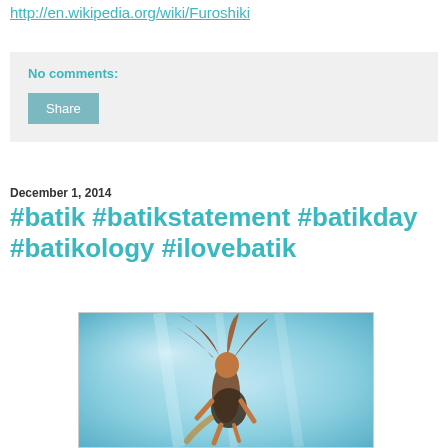http://en.wikipedia.org/wiki/Furoshiki
No comments:
Share
December 1, 2014
#batik #batikstatement #batikday #batikology #ilovebatik
[Figure (photo): Underwater photograph of a woman with flowing red/brown hair wearing a dark dress, photographed from below against a light blue water background]